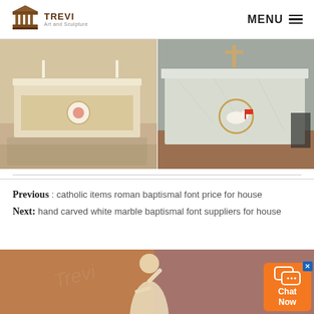TREVI Art and Sculpture | MENU
[Figure (photo): Left: marble church altar with ornate front panel and Sacred Heart medallion inset, beige/cream tones, candles visible]
[Figure (photo): Right: white marble church altar with golden Agnus Dei (Lamb of God) medallion, wood floor visible, modern church interior]
Previous : catholic items roman baptismal font price for house
Next: hand carved white marble baptismal font suppliers for house
[Figure (photo): Bottom: marble statue of Jesus Christ with one hand raised in blessing, warm brown/orange background with watermark text]
Chat Now